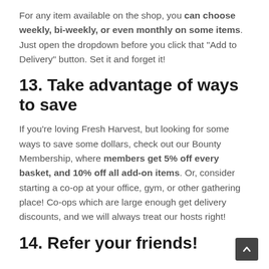For any item available on the shop, you can choose weekly, bi-weekly, or even monthly on some items. Just open the dropdown before you click that "Add to Delivery" button. Set it and forget it!
13. Take advantage of ways to save
If you're loving Fresh Harvest, but looking for some ways to save some dollars, check out our Bounty Membership, where members get 5% off every basket, and 10% off all add-on items. Or, consider starting a co-op at your office, gym, or other gathering place! Co-ops which are large enough get delivery discounts, and we will always treat our hosts right!
14. Refer your friends!